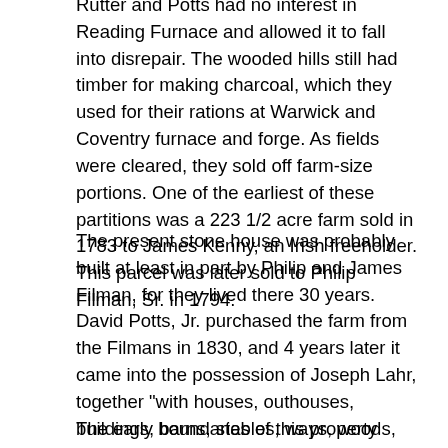Rutter and Potts had no interest in Reading Furnace and allowed it to fall into disrepair. The wooded hills still had timber for making charcoal, which they used for their rations at Warwick and Coventry furnace and forge. As fields were cleared, they sold off farm-size portions. One of the earliest of these partitions was a 223 1/2 acre farm sold in 1783 to James Kenny, an Irish freeholder. This parcel was later sold to Philip Filman, Sr. in 1794.
The present stone house was probably built at least in part by Philip and James Filman, for they lived there 30 years. David Potts, Jr. purchased the farm from the Filmans in 1830, and 4 years later it came into the possession of Joseph Lahr, together "with houses, outhouses, buildings, barns, stables, ways, woods, water courses, etc." The farm remained in the possession of the Lahr family until 1938.
The early boundaries of this property have remained